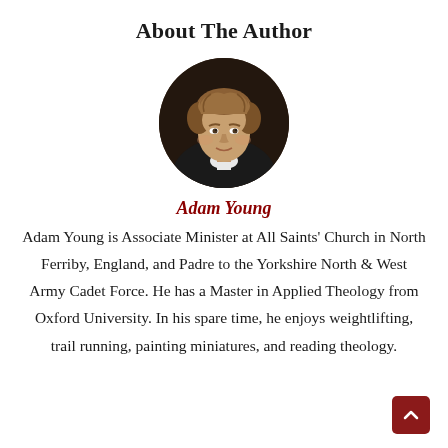About The Author
[Figure (photo): Circular portrait photo of Adam Young, a man with curly light brown hair wearing a dark jacket and white collar shirt, against a dark background.]
Adam Young
Adam Young is Associate Minister at All Saints' Church in North Ferriby, England, and Padre to the Yorkshire North & West Army Cadet Force. He has a Master in Applied Theology from Oxford University. In his spare time, he enjoys weightlifting, trail running, painting miniatures, and reading theology.